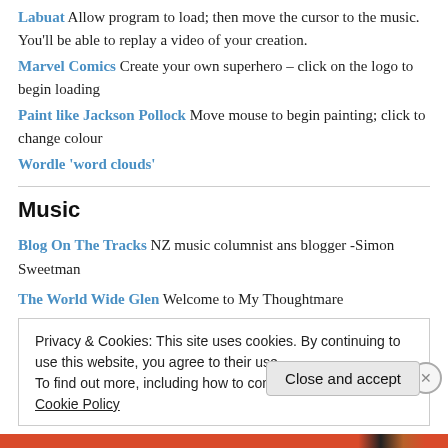Labuat Allow program to load; then move the cursor to the music. You'll be able to replay a video of your creation.
Marvel Comics Create your own superhero – click on the logo to begin loading
Paint like Jackson Pollock Move mouse to begin painting; click to change colour
Wordle 'word clouds'
Music
Blog On The Tracks NZ music columnist ans blogger -Simon Sweetman
The World Wide Glen Welcome to My Thoughtmare
Privacy & Cookies: This site uses cookies. By continuing to use this website, you agree to their use.
To find out more, including how to control cookies, see here: Cookie Policy
Close and accept